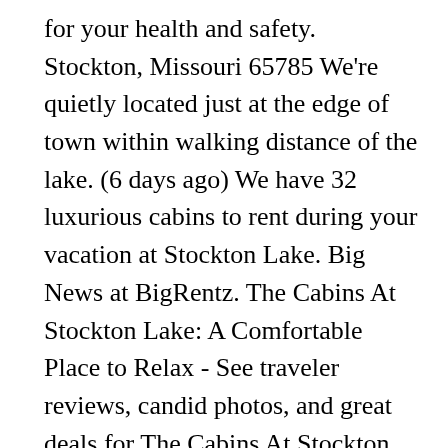for your health and safety. Stockton, Missouri 65785 We're quietly located just at the edge of town within walking distance of the lake. (6 days ago) We have 32 luxurious cabins to rent during your vacation at Stockton Lake. Big News at BigRentz. The Cabins At Stockton Lake: A Comfortable Place to Relax - See traveler reviews, candid photos, and great deals for The Cabins At Stockton Lake at Tripadvisor. This home features 3 queen beds, 1 twin bed, … 10 lake houses to book online in Stockton-on-Tees, Stockton-on-Tees. Rented! So if you want to go fishing, go to the beach, or just take the boat out, you'll be close to all of those things. Cabins are very well maintained, clean, cozy and uniquely decorated. Fully equipped